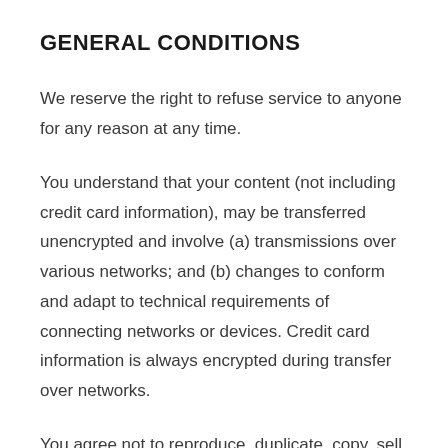GENERAL CONDITIONS
We reserve the right to refuse service to anyone for any reason at any time.
You understand that your content (not including credit card information), may be transferred unencrypted and involve (a) transmissions over various networks; and (b) changes to conform and adapt to technical requirements of connecting networks or devices. Credit card information is always encrypted during transfer over networks.
You agree not to reproduce, duplicate, copy, sell, resell or exploit any portion of the Service, use of the Service,